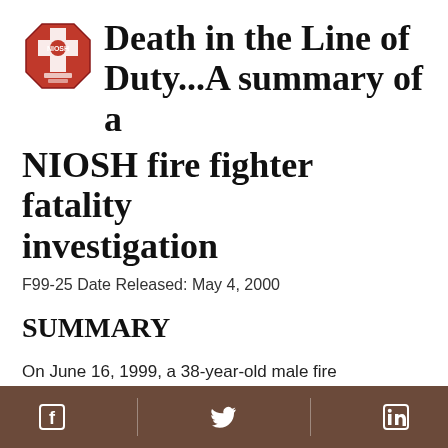Death in the Line of Duty...A summary of a NIOSH fire fighter fatality investigation
F99-25 Date Released: May 4, 2000
SUMMARY
On June 16, 1999, a 38-year-old male fire fighter/Captain (the victim) died after falling approximately 20 feet from the top of a ladder which had been previously raised to the second-story window of a fire building at a fire training exercise. On
Social media share buttons: Facebook, Twitter, LinkedIn